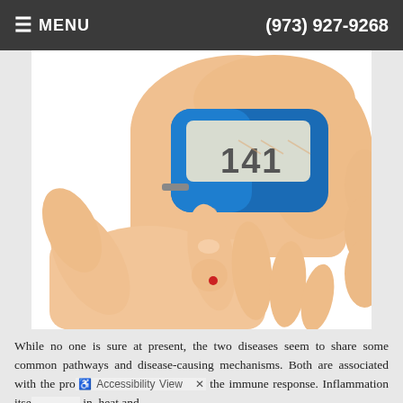≡ MENU   (973) 927-9268
[Figure (photo): A hand holding a blue blood glucose meter while testing a finger with a lancet, showing a small red blood drop on the fingertip. The meter display shows the number 141.]
While no one is sure at present, the two diseases seem to share some common pathways and disease-causing mechanisms. Both are associated with the process of inflammation and the immune response. Inflammation itse often also results in heat and